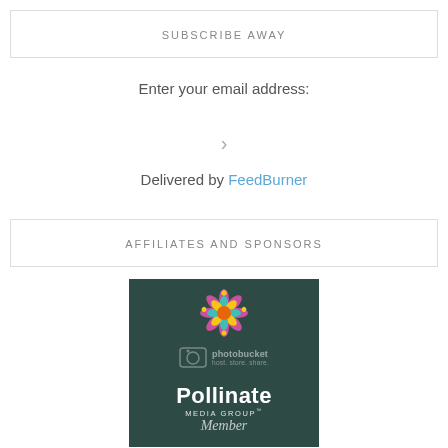SUBSCRIBE AWAY
Enter your email address:
>
Delivered by FeedBurner
AFFILIATES AND SPONSORS
[Figure (logo): Pollinate Media Group member badge with colorful flower logo on dark teal background, with Photobucket watermark]